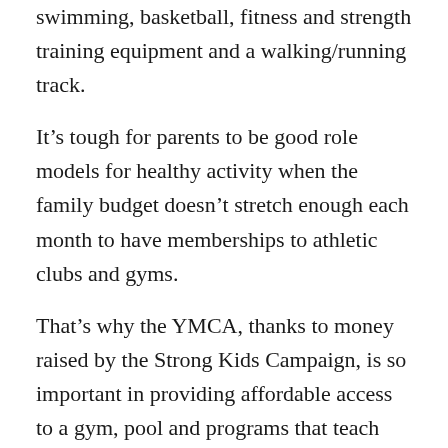swimming, basketball, fitness and strength training equipment and a walking/running track.
It's tough for parents to be good role models for healthy activity when the family budget doesn't stretch enough each month to have memberships to athletic clubs and gyms.
That's why the YMCA, thanks to money raised by the Strong Kids Campaign, is so important in providing affordable access to a gym, pool and programs that teach leadership skills.
When the whole family can afford to gear up for a regular workout or swim, there is that support system to go and keep going for a fit and healthy